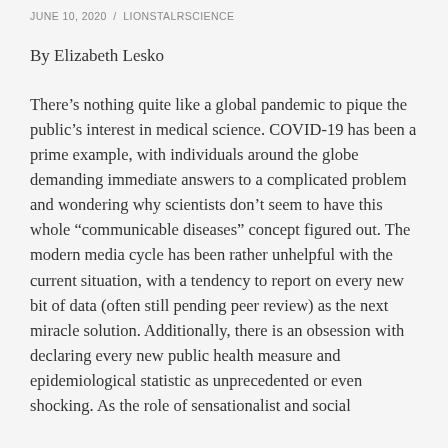JUNE 10, 2020 / LIONSTALRSCIENCE
By Elizabeth Lesko
There’s nothing quite like a global pandemic to pique the public’s interest in medical science. COVID-19 has been a prime example, with individuals around the globe demanding immediate answers to a complicated problem and wondering why scientists don’t seem to have this whole “communicable diseases” concept figured out. The modern media cycle has been rather unhelpful with the current situation, with a tendency to report on every new bit of data (often still pending peer review) as the next miracle solution. Additionally, there is an obsession with declaring every new public health measure and epidemiological statistic as unprecedented or even shocking. As the role of sensationalist and social